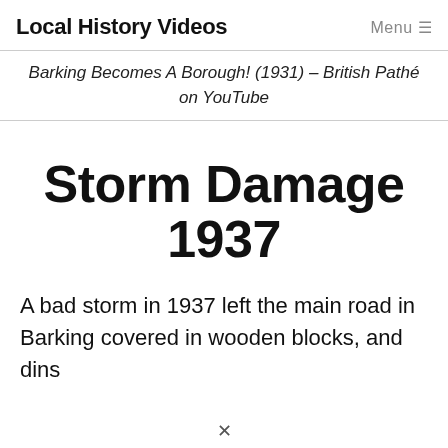Local History Videos    Menu ≡
Barking Becomes A Borough! (1931) – British Pathé on YouTube
Storm Damage 1937
A bad storm in 1937 left the main road in Barking covered in wooden blocks, and dins